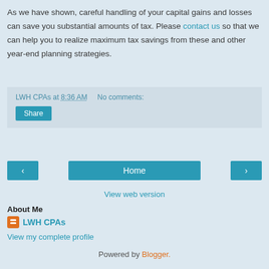As we have shown, careful handling of your capital gains and losses can save you substantial amounts of tax. Please contact us so that we can help you to realize maximum tax savings from these and other year-end planning strategies.
LWH CPAs at 8:36 AM   No comments:
Share
‹
Home
›
View web version
About Me
LWH CPAs
View my complete profile
Powered by Blogger.